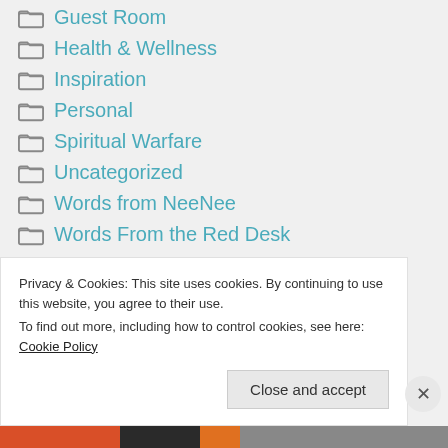Guest Room
Health & Wellness
Inspiration
Personal
Spiritual Warfare
Uncategorized
Words from NeeNee
Words From the Red Desk
Meta
Privacy & Cookies: This site uses cookies. By continuing to use this website, you agree to their use.
To find out more, including how to control cookies, see here: Cookie Policy
Close and accept